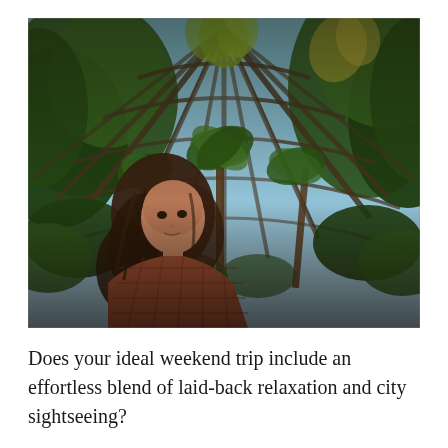[Figure (photo): A young woman with long wavy brown hair wearing a red/brown checkered top stands inside a large glass-roofed botanical greenhouse or conservatory. The image is taken from a low angle looking up, showing the ornate metal and glass domed ceiling structure with lush tropical palm trees and ferns filling the interior space. Sky is visible through the glass panels.]
Does your ideal weekend trip include an effortless blend of laid-back relaxation and city sightseeing?